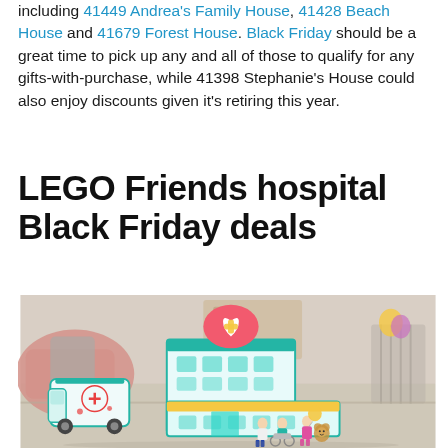including 41449 Andrea's Family House, 41428 Beach House and 41679 Forest House. Black Friday should be a great time to pick up any and all of those to qualify for any gifts-with-purchase, while 41398 Stephanie's House could also enjoy discounts given it's retiring this year.
LEGO Friends hospital Black Friday deals
[Figure (photo): Photo of LEGO Friends Heartlake City Hospital set (41394) showing the teal and white hospital building with a heart and band-aid sign on top, an ambulance van to the left, and three mini-doll figures in front, set against a blurred indoor background.]